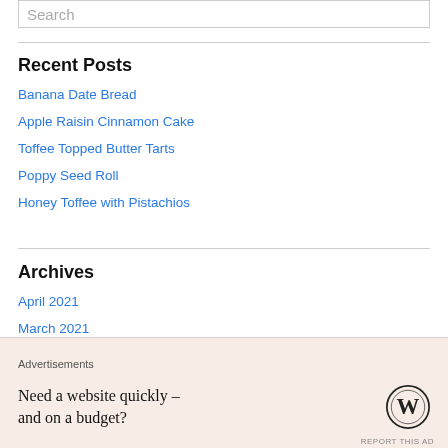Search
Recent Posts
Banana Date Bread
Apple Raisin Cinnamon Cake
Toffee Topped Butter Tarts
Poppy Seed Roll
Honey Toffee with Pistachios
Archives
April 2021
March 2021
February 2021
Advertisements
Need a website quickly – and on a budget?